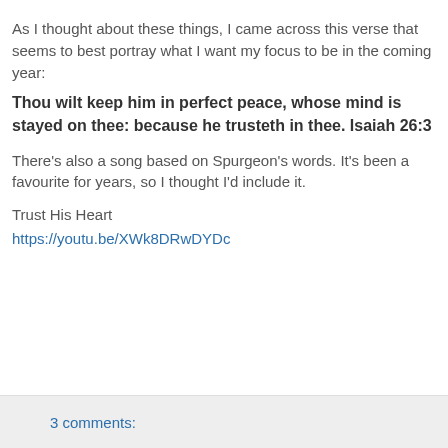As I thought about these things, I came across this verse that seems to best portray what I want my focus to be in the coming year:
Thou wilt keep him in perfect peace, whose mind is stayed on thee: because he trusteth in thee. Isaiah 26:3
There’s also a song based on Spurgeon’s words. It’s been a favourite for years, so I thought I’d include it.
Trust His Heart
https://youtu.be/XWk8DRwDYDc
3 comments: